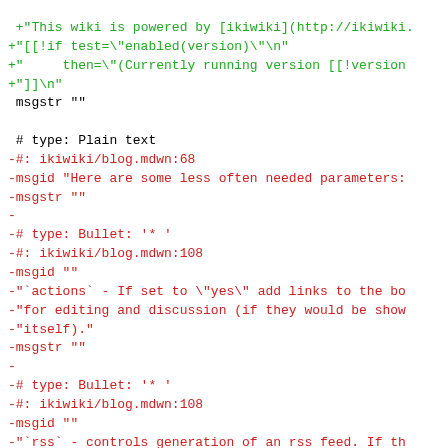Code diff view showing gettext/po file content with green additions and red deletions including ikiwiki blog.mdwn entries